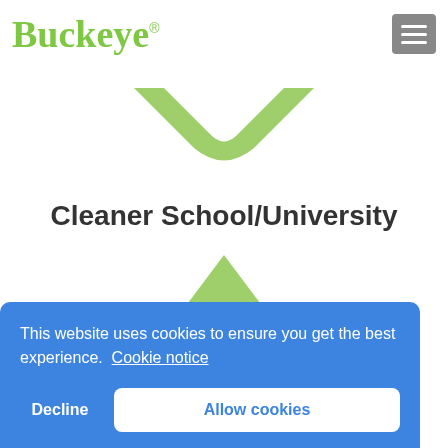[Figure (logo): Buckeye logo in green cursive script with registered trademark symbol]
[Figure (illustration): Green downward-pointing chevron/V shape icon]
Cleaner School/University
[Figure (illustration): Green upward-pointing triangle/mountain shape with 'Standardized' text label inside]
This website uses cookies to ensure you get the best experience. Cookie notice
Decline
Allow cookies